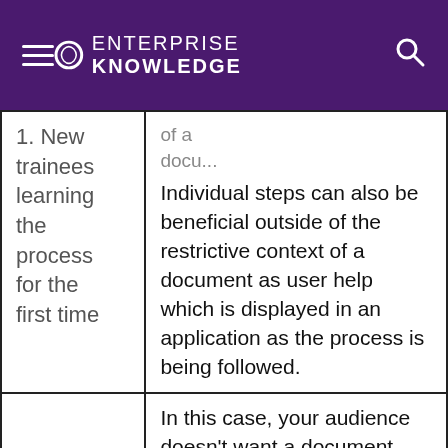ENTERPRISE KNOWLEDGE
| 1. New trainees learning the process for the first time | Individual steps can also be beneficial outside of the restrictive context of a document as user help which is displayed in an application as the process is being followed. |
|  | In this case, your audience doesn't want a document about the entire process – they just want Step 3! And they're probably not searching for the phrase |